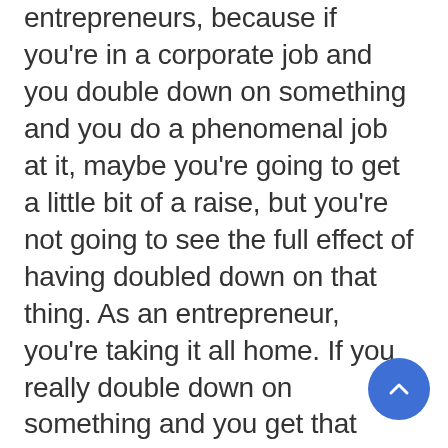entrepreneurs, because if you're in a corporate job and you double down on something and you do a phenomenal job at it, maybe you're going to get a little bit of a raise, but you're not going to see the full effect of having doubled down on that thing. As an entrepreneur, you're taking it all home. If you really double down on something and you get that snowball effect, that is all yours, nobody's taken a slice of the pie away from you. And so as much as it's cruel to tell you to start cutting your babies and cutting your